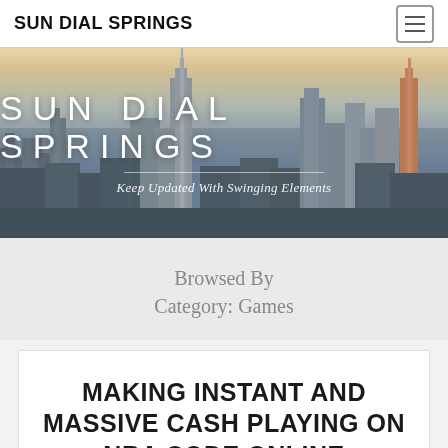SUN DIAL SPRINGS
[Figure (photo): Hero banner with city skyline (New York) background with text overlay: SUN DIAL SPRINGS and tagline Keep Updated With Swinging Elements]
SUN DIAL SPRINGS
Keep Updated With Swinging Elements
Browsed By Category: Games
MAKING INSTANT AND MASSIVE CASH PLAYING ON NBA CODE ONLINE